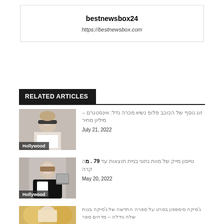bestnewsbox24
https://bestnewsbox.com
RELATED ARTICLES
[Figure (photo): Photo of woman wearing sunglasses outdoors with Hollywood tag]
זוג נוסף של הכוכב פלופ נשיא מכרה נדל: אינסטגרם – מיליון מחיר
July 21, 2022
[Figure (photo): Photo of man in black jacket sitting with Hollywood tag]
טייסון מייק של מוות נתוני בניית תוצאות עד 79 . מה קרה
May 20, 2022
[Figure (photo): Photo of blonde woman near golden mirror frames]
ג'סיקה סימפסון בסרט על ספרה החדשה של ג'סיקה בנות שלה גידלה – מדהים ספר